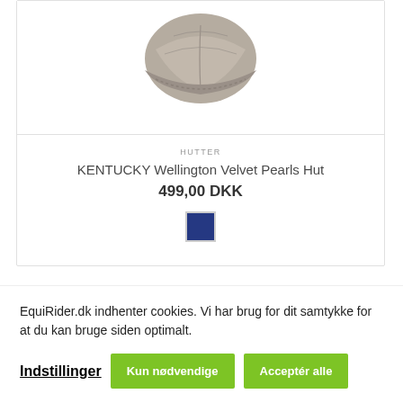[Figure (photo): Product photo of KENTUCKY Wellington Velvet Pearls Hut — a grey/taupe velvet horse riding hat viewed from underneath, showing the brim and decorative pearl stitching]
HUTTER
KENTUCKY Wellington Velvet Pearls Hut
499,00 DKK
[Figure (other): Navy blue color swatch square]
EquiRider.dk indhenter cookies. Vi har brug for dit samtykke for at du kan bruge siden optimalt.
Indstillinger
Kun nødvendige
Acceptér alle